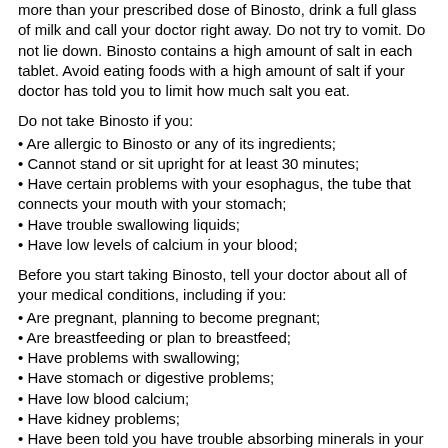more than your prescribed dose of Binosto, drink a full glass of milk and call your doctor right away. Do not try to vomit. Do not lie down. Binosto contains a high amount of salt in each tablet. Avoid eating foods with a high amount of salt if your doctor has told you to limit how much salt you eat.
Do not take Binosto if you:
Are allergic to Binosto or any of its ingredients;
Cannot stand or sit upright for at least 30 minutes;
Have certain problems with your esophagus, the tube that connects your mouth with your stomach;
Have trouble swallowing liquids;
Have low levels of calcium in your blood;
Before you start taking Binosto, tell your doctor about all of your medical conditions, including if you:
Are pregnant, planning to become pregnant;
Are breastfeeding or plan to breastfeed;
Have problems with swallowing;
Have stomach or digestive problems;
Have low blood calcium;
Have kidney problems;
Have been told you have trouble absorbing minerals in your stomach or intestines;
Have been told to lower your salt intake;
Plan to have dental surgery or teeth removed.
Drug Interactions
Tell your healthcare provider about all the medicines you take, including